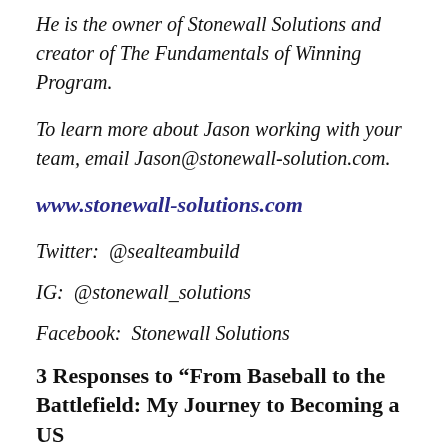He is the owner of Stonewall Solutions and creator of The Fundamentals of Winning Program.
To learn more about Jason working with your team, email Jason@stonewall-solution.com.
www.stonewall-solutions.com
Twitter:  @sealteambuild
IG:  @stonewall_solutions
Facebook:  Stonewall Solutions
3 Responses to “From Baseball to the Battlefield: My Journey to Becoming a US